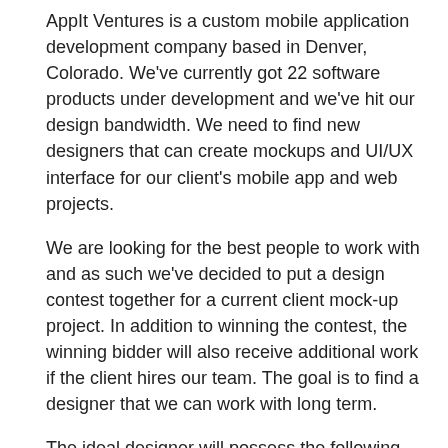AppIt Ventures is a custom mobile application development company based in Denver, Colorado. We've currently got 22 software products under development and we've hit our design bandwidth. We need to find new designers that can create mockups and UI/UX interface for our client's mobile app and web projects.
We are looking for the best people to work with and as such we've decided to put a design contest together for a current client mock-up project. In addition to winning the contest, the winning bidder will also receive additional work if the client hires our team. The goal is to find a designer that we can work with long term.
The ideal designer will possess the following qualities:
- Fluent in English
- Quality portfolio of iOS and Android designs
- Ability to create mock-ups and story boards
- Ability to user Sketch for design, Teamwork for Project